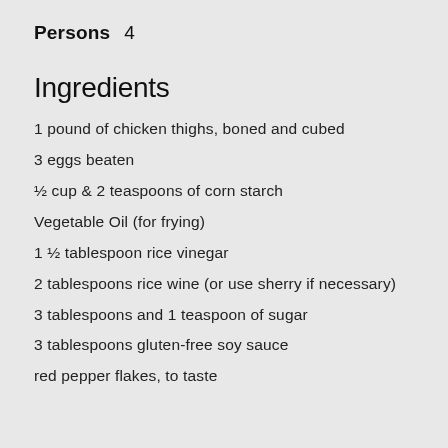Persons    4
Ingredients
1 pound of chicken thighs, boned and cubed
3 eggs beaten
½ cup & 2 teaspoons of corn starch
Vegetable Oil (for frying)
1 ½ tablespoon rice vinegar
2 tablespoons rice wine (or use sherry if necessary)
3 tablespoons and 1 teaspoon of sugar
3 tablespoons gluten-free soy sauce
red pepper flakes, to taste